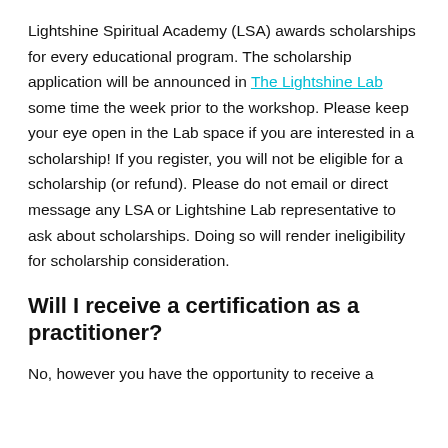Lightshine Spiritual Academy (LSA) awards scholarships for every educational program. The scholarship application will be announced in The Lightshine Lab some time the week prior to the workshop. Please keep your eye open in the Lab space if you are interested in a scholarship! If you register, you will not be eligible for a scholarship (or refund). Please do not email or direct message any LSA or Lightshine Lab representative to ask about scholarships. Doing so will render ineligibility for scholarship consideration.
Will I receive a certification as a practitioner?
No, however you have the opportunity to receive a